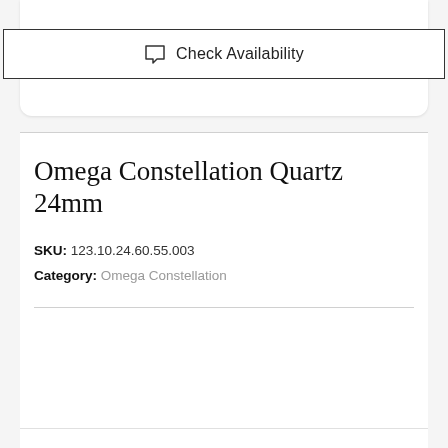Check Availability
Omega Constellation Quartz 24mm
SKU: 123.10.24.60.55.003
Category: Omega Constellation
Specifications